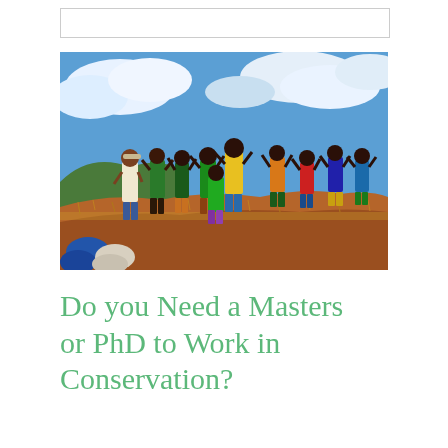[Figure (photo): Group of children and young people on a red-soil hillside with dry grass, raising fists and celebrating, blue sky with clouds in background. Outdoors in what appears to be Africa.]
Do you Need a Masters or PhD to Work in Conservation?